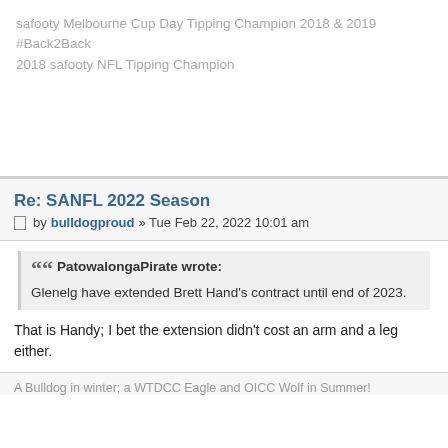safooty Melbourne Cup Day Tipping Champion 2018 & 2019 #Back2Back
2018 safooty NFL Tipping Champion
Re: SANFL 2022 Season
by bulldogproud » Tue Feb 22, 2022 10:01 am
PatowalongaPirate wrote:
Glenelg have extended Brett Hand's contract until end of 2023.
That is Handy; I bet the extension didn't cost an arm and a leg either.
A Bulldog in winter; a WTDCC Eagle and OICC Wolf in Summer!